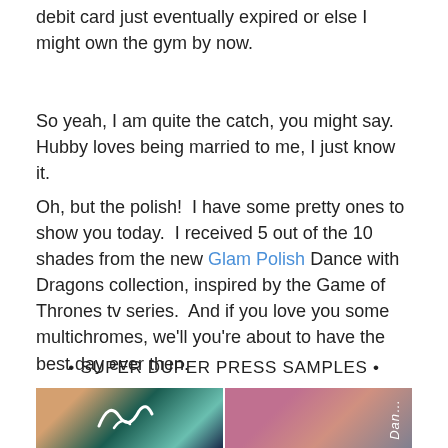debit card just eventually expired or else I might own the gym by now.
So yeah, I am quite the catch, you might say.  Hubby loves being married to me, I just know it.
Oh, but the polish!  I have some pretty ones to show you today.  I received 5 out of the 10 shades from the new Glam Polish Dance with Dragons collection, inspired by the Game of Thrones tv series.  And if you love you some multichromes, we’ll you’re about to have the best day ever then.
• SUPER DUPER PRESS SAMPLES •
[Figure (photo): Two nail polish photos side by side: left shows a fingernail with teal/dark multichrome polish with a white swirly logo overlay; right shows blurred pink/mauve nail polish colors with vertical text reading 'Dan...' (Dance with Dragons)]